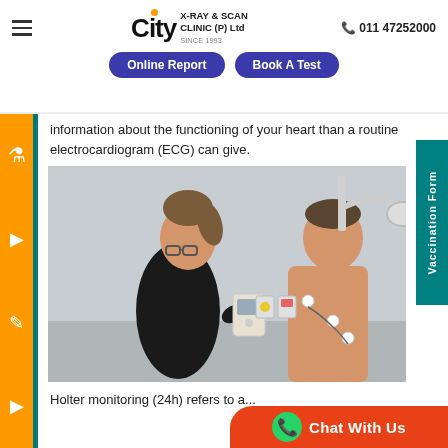City X-RAY & SCAN CLINIC (P) Ltd | SINCE 1993 | 011 47252000 | Online Report | Book A Test
information about the functioning of your heart than a routine electrocardiogram (ECG) can give.
[Figure (photo): A female healthcare professional in black attire attaching ECG electrodes/Holter monitor to a shirtless male patient in a clinical room]
Holter monitoring (24h) refers to a...
Vaccination Form
Chat With Us